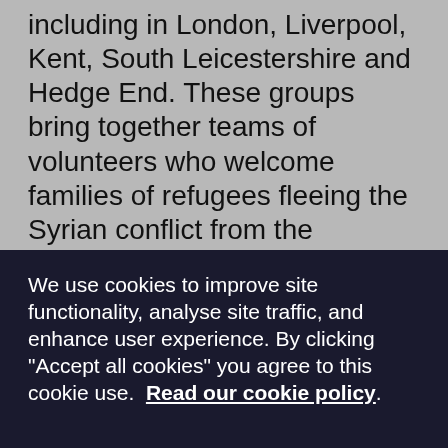including in London, Liverpool, Kent, South Leicestershire and Hedge End. These groups bring together teams of volunteers who welcome families of refugees fleeing the Syrian conflict from the moment they arrive at the airport, into local accommodation, and provide intensive everyday support required for the family to build a new life in the community.
Building a Community Sponsorship group takes time and considerable energy. The Salvation Army offers
We use cookies to improve site functionality, analyse site traffic, and enhance user experience. By clicking "Accept all cookies" you agree to this cookie use. Read our cookie policy.